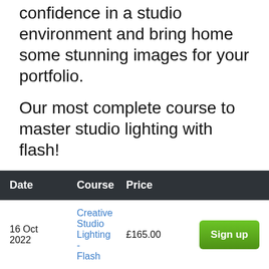confidence in a studio environment and bring home some stunning images for your portfolio.
Our most complete course to master studio lighting with flash!
| Date | Course | Price |  |
| --- | --- | --- | --- |
| 16 Oct 2022 | Creative Studio Lighting - Flash | £165.00 | Sign up |